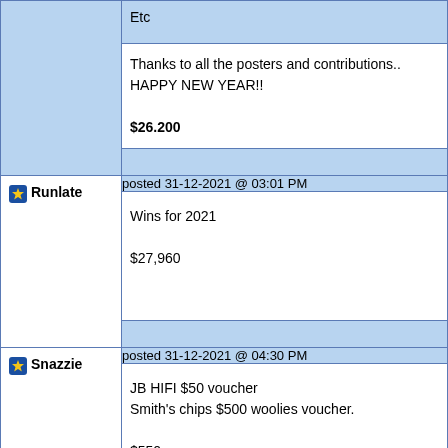| User | Post |
| --- | --- |
| (continuing) | Etc

Thanks to all the posters and contributions..
HAPPY NEW YEAR!!

$26.200 |
| Runlate | posted 31-12-2021 @ 03:01 PM

Wins for 2021

$27,960 |
| Snazzie | posted 31-12-2021 @ 04:30 PM

JB HIFI $50 voucher
Smith's chips $500 woolies voucher.

$550 |